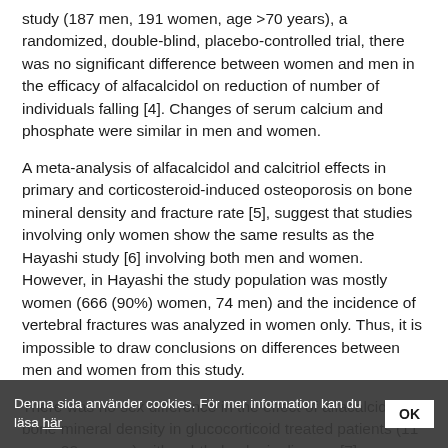study (187 men, 191 women, age >70 years), a randomized, double-blind, placebo-controlled trial, there was no significant difference between women and men in the efficacy of alfacalcidol on reduction of number of individuals falling [4]. Changes of serum calcium and phosphate were similar in men and women.
A meta-analysis of alfacalcidol and calcitriol effects in primary and corticosteroid-induced osteoporosis on bone mineral density and fracture rate [5], suggest that studies involving only women show the same results as the Hayashi study [6] involving both men and women. However, in Hayashi the study population was mostly women (666 (90%) women, 74 men) and the incidence of vertebral fractures was analyzed in women only. Thus, it is impossible to draw conclusions on differences between men and women from this study.
There was no sex difference in the effect of alfacalcidol on bone mineral density in glucocorticoid treated patients (11 men, 22 women) with ophthalmologic disease [7].
Adverse effects